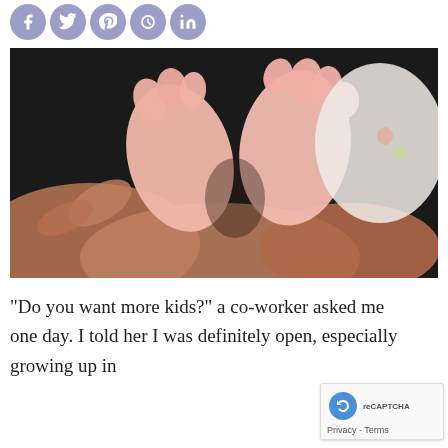[Figure (other): Social sharing icons row: Facebook, Twitter, Pinterest, Google+, LinkedIn — all circular with purple-grey background and white icons]
[Figure (photo): Close-up photograph of newborn baby feet being held by adult hands against a dark background. The baby is wearing a white floral-print cloth.]
“Do you want more kids?” a co-worker asked me one day. I told her I was definitely open, especially growing up in a family of eight children, 3 kids...